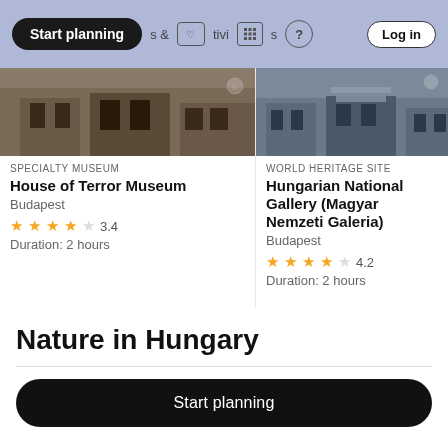Start planning
[Figure (screenshot): Top navigation bar with search pill 'Start planning', icons, and Log in button on light blue/periwinkle background]
[Figure (photo): Partial photo of House of Terror Museum building]
SPECIALTY MUSEUM
House of Terror Museum
Budapest
3.4
Duration: 2 hours
[Figure (photo): Partial photo of Hungarian National Gallery building]
WORLD HERITAGE SITE
Hungarian National Gallery (Magyar Nemzeti Galeria)
Budapest
4.2
Duration: 2 hours
Nature in Hungary
Start planning